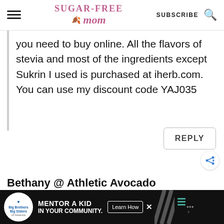Sugar-Free Mom — SUBSCRIBE
you need to buy online. All the flavors of stevia and most of the ingredients except Sukrin I used is purchased at iherb.com. You can use my discount code YAJ035
REPLY
Bethany @ Athletic Avocado
[Figure (screenshot): Advertisement banner for Big Brothers Big Sisters: 'MENTOR A KID IN YOUR COMMUNITY.' with Learn How button]